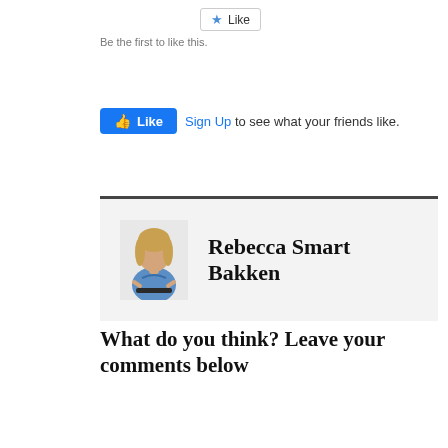[Figure (screenshot): Like button widget (star icon) at top]
Be the first to like this.
[Figure (screenshot): Facebook Like button widget with Sign Up link and text 'Sign Up to see what your friends like.']
[Figure (photo): Author profile box with photo of Rebecca Smart Bakken (woman in blue top) on gray background]
What do you think? Leave your comments below